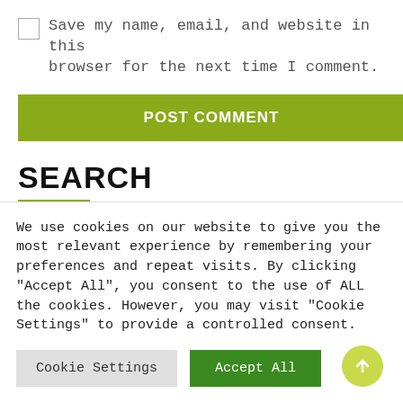Save my name, email, and website in this browser for the next time I comment.
POST COMMENT
SEARCH
We use cookies on our website to give you the most relevant experience by remembering your preferences and repeat visits. By clicking "Accept All", you consent to the use of ALL the cookies. However, you may visit "Cookie Settings" to provide a controlled consent.
Cookie Settings
Accept All